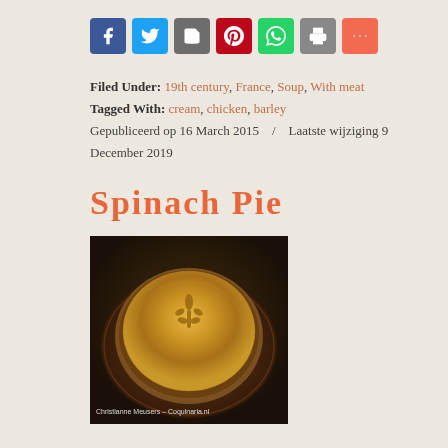[Figure (other): Social sharing buttons: Facebook (blue), Twitter (light blue), Save (grey), Pinterest (red), WhatsApp (green), Print (grey), More (orange-red)]
Filed Under: 19th century, France, Soup, With meat
Tagged With: cream, chicken, barley
Gepubliceerd op 16 March 2015 / Laatste wijziging 9 December 2019
Spinach Pie
[Figure (photo): A golden-brown baked spinach pie in a round dish on a wooden board, with a decorative fleur-de-lis pattern pressed into the top crust. Watermark: Christianne Meusers – Coquinaria.nl]
This the third recipe for Good Friday. The other recipes are Pomegranate Salad and Jacobin Sops. If